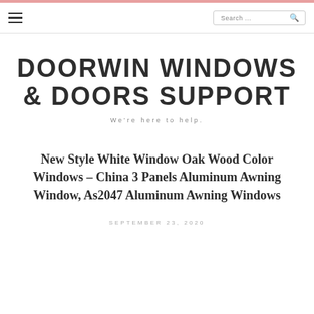DOORWIN WINDOWS & DOORS SUPPORT
We're here to help.
New Style White Window Oak Wood Color Windows – China 3 Panels Aluminum Awning Window, As2047 Aluminum Awning Windows
SEPTEMBER 23, 2020